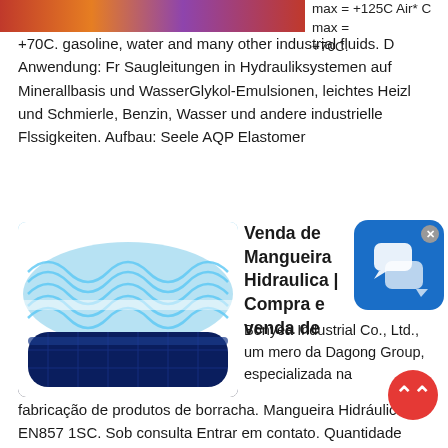[Figure (photo): Partial product image at the top left, appears to be a colorful/abstract hose or industrial product photo, cropped]
max = +125C Air* C max = +70C. gasoline, water and many other industrial fluids. D Anwendung: Fr Saugleitungen in Hydrauliksystemen auf Minerallbasis und WasserGlykol-Emulsionen, leichtes Heizl und Schmierle, Benzin, Wasser und andere industrielle Flssigkeiten. Aufbau: Seele AQP Elastomer
[Figure (photo): Blue spiral-reinforced hydraulic hose, showing two ends: blue flexible corrugated hose and dark navy/black hose, against white background]
Venda de Mangueira Hidraulica | Compra e venda de
Bonyea Industrial Co., Ltd., um mero da Dagong Group, especializada na fabricação de produtos de borracha. Mangueira Hidráulica din EN857 1SC. Sob consulta Entrar em contato. Quantidade mínima: 500 m mangueira preta 3 4. mangueira cristal. motor hidraulico. mini unidade hidráulica. mesa hidráulica manual. cachaca. cacaas.